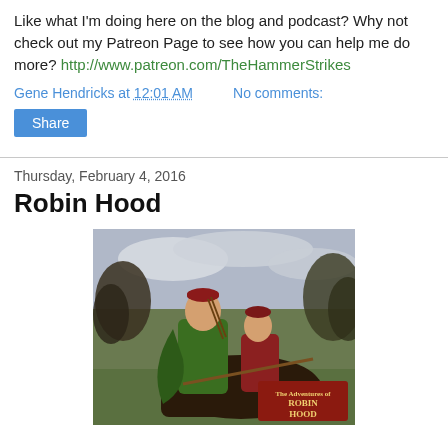Like what I'm doing here on the blog and podcast? Why not check out my Patreon Page to see how you can help me do more? http://www.patreon.com/TheHammerStrikes
Gene Hendricks at 12:01 AM   No comments:
Share
Thursday, February 4, 2016
Robin Hood
[Figure (photo): Two people in Robin Hood costumes on horseback outdoors, with trees and cloudy sky in background. The Adventures of Robin Hood movie title visible in bottom right corner.]